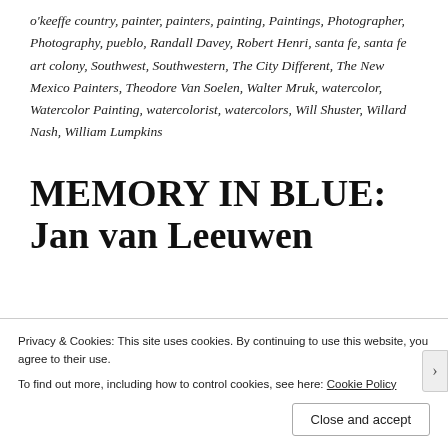o'keeffe country, painter, painters, painting, Paintings, Photographer, Photography, pueblo, Randall Davey, Robert Henri, santa fe, santa fe art colony, Southwest, Southwestern, The City Different, The New Mexico Painters, Theodore Van Soelen, Walter Mruk, watercolor, Watercolor Painting, watercolorist, watercolors, Will Shuster, Willard Nash, William Lumpkins
MEMORY IN BLUE: Jan van Leeuwen
Privacy & Cookies: This site uses cookies. By continuing to use this website, you agree to their use.
To find out more, including how to control cookies, see here: Cookie Policy